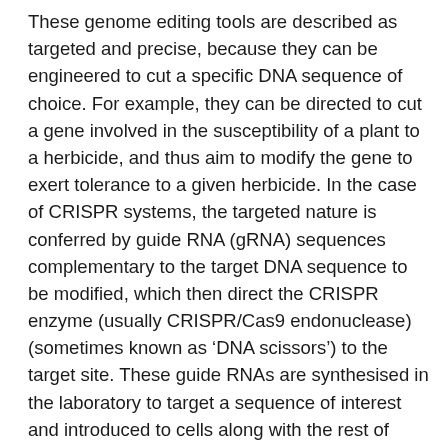These genome editing tools are described as targeted and precise, because they can be engineered to cut a specific DNA sequence of choice. For example, they can be directed to cut a gene involved in the susceptibility of a plant to a herbicide, and thus aim to modify the gene to exert tolerance to a given herbicide. In the case of CRISPR systems, the targeted nature is conferred by guide RNA (gRNA) sequences complementary to the target DNA sequence to be modified, which then direct the CRISPR enzyme (usually CRISPR/Cas9 endonuclease) (sometimes known as 'DNA scissors') to the target site. These guide RNAs are synthesised in the laboratory to target a sequence of interest and introduced to cells along with the rest of CRISPR machinery. This is usually delivered in the form of transgenic DNA constructs (i.e. constructs that include 'transgenic' or foreign DNA, from different organisms) that encode for CRISPR enzyme and the guide RNA. Other genome editing techniques such as TALENs,